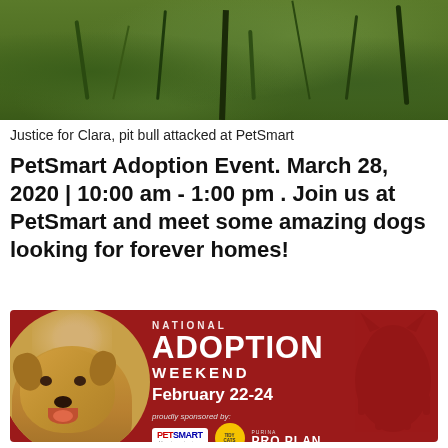[Figure (photo): Top photo showing green grass with a dark vertical element, partially cropped]
Justice for Clara, pit bull attacked at PetSmart
PetSmart Adoption Event. March 28, 2020 | 10:00 am - 1:00 pm . Join us at PetSmart and meet some amazing dogs looking for forever homes!
[Figure (photo): National Adoption Weekend ad banner with dark red background, showing a golden/tan pit bull dog in a circular photo on the left, text reading NATIONAL ADOPTION WEEKEND February 22-24, sponsored by PetSmart, Tidy Cats, and Pro Plan logos at the bottom]